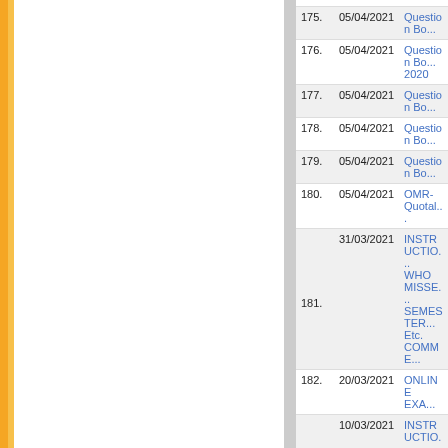| No. | Date | Title |
| --- | --- | --- |
| 175. | 05/04/2021 | Question Bo... |
| 176. | 05/04/2021 | Question Bo... 2020 |
| 177. | 05/04/2021 | Question Bo... |
| 178. | 05/04/2021 | Question Bo... |
| 179. | 05/04/2021 | Question Bo... |
| 180. | 05/04/2021 | OMR-Quotal... |
| 181. | 31/03/2021 | INSTRUCTIO... WHO MISSE... SEMESTER... Etc. COMME... |
| 182. | 20/03/2021 | ONLINE EXA... |
| 183. | 10/03/2021 | INSTRUCTIO... ENVIRONME... VIOLENCE A... CONDUCTE... |
| 184. | 10/03/2021 | Schedule of... |
| 185. | 02/03/2021 | Notice for th... |
| 186. | 02/03/2021 | M.Phil./Ph.D... |
| 187. | 26/02/2021 | Notice for th... |